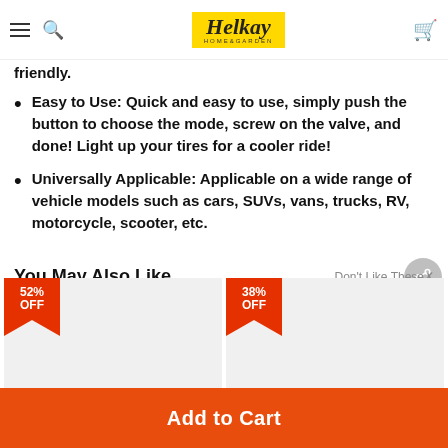Helkay Home & Garden
friendly.
Easy to Use: Quick and easy to use, simply push the button to choose the mode, screw on the valve, and done! Light up your tires for a cooler ride!
Universally Applicable: Applicable on a wide range of vehicle models such as cars, SUVs, vans, trucks, RV, motorcycle, scooter, etc.
You May Also Like
Don't Like These
[Figure (screenshot): Two product cards with discount badges: 52% OFF and 38% OFF on light gray backgrounds]
Add to Cart